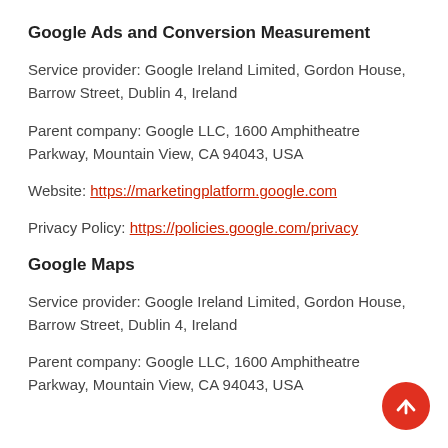Google Ads and Conversion Measurement
Service provider: Google Ireland Limited, Gordon House, Barrow Street, Dublin 4, Ireland
Parent company: Google LLC, 1600 Amphitheatre Parkway, Mountain View, CA 94043, USA
Website: https://marketingplatform.google.com
Privacy Policy: https://policies.google.com/privacy
Google Maps
Service provider: Google Ireland Limited, Gordon House, Barrow Street, Dublin 4, Ireland
Parent company: Google LLC, 1600 Amphitheatre Parkway, Mountain View, CA 94043, USA